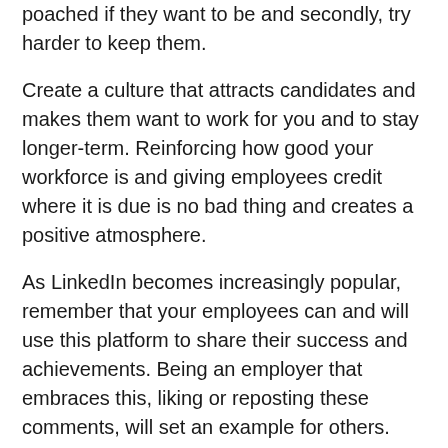poached if they want to be and secondly, try harder to keep them.
Create a culture that attracts candidates and makes them want to work for you and to stay longer-term. Reinforcing how good your workforce is and giving employees credit where it is due is no bad thing and creates a positive atmosphere.
As LinkedIn becomes increasingly popular, remember that your employees can and will use this platform to share their success and achievements. Being an employer that embraces this, liking or reposting these comments, will set an example for others.
In the same way that employees share their success and achievements online, it is important that you remember that others will see this too. Attracting talent is just as important as nurturing those that already work for you, so do both.